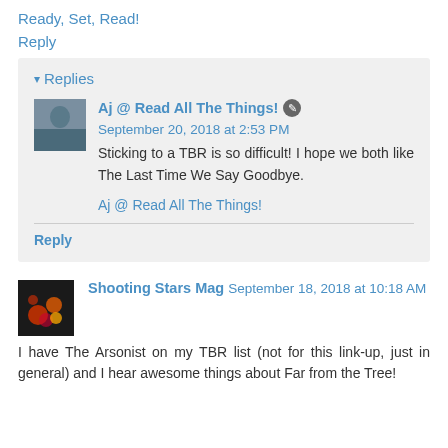Ready, Set, Read!
Reply
Replies
Aj @ Read All The Things! September 20, 2018 at 2:53 PM
Sticking to a TBR is so difficult! I hope we both like The Last Time We Say Goodbye.
Aj @ Read All The Things!
Reply
Shooting Stars Mag September 18, 2018 at 10:18 AM
I have The Arsonist on my TBR list (not for this link-up, just in general) and I hear awesome things about Far from the Tree!